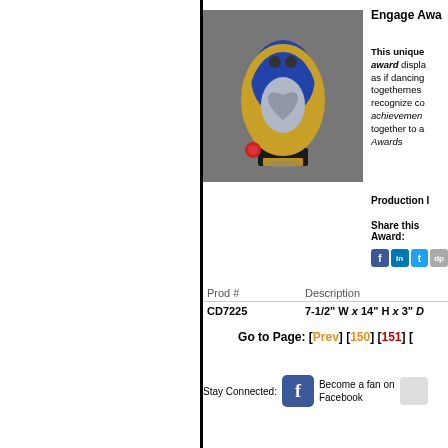[Figure (photo): Trophy award - glass/crystal award with blue and gold design shaped like two figures embracing, with a heart cutout, on a black base with a red rose decoration]
Engage Award
This unique award displays as if dancing, togetherness, recognize co-achievement, together to achieve, Awards
Production Info
Share this Award:
| Prod # | Description |
| --- | --- |
| CD7225 | 7-1/2" W x 14" H x 3" D |
Go to Page: [Prev] [150] [151] [
Stay Connected:  Become a fan on Facebook